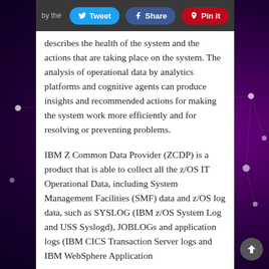by the  Tweet  Share  Pin it  a
describes the health of the system and the actions that are taking place on the system. The analysis of operational data by analytics platforms and cognitive agents can produce insights and recommended actions for making the system work more efficiently and for resolving or preventing problems.
IBM Z Common Data Provider (ZCDP) is a product that is able to collect all the z/OS IT Operational Data, including System Management Facilities (SMF) data and z/OS log data, such as SYSLOG (IBM z/OS System Log and USS Syslogd), JOBLOGs and application logs (IBM CICS Transaction Server logs and IBM WebSphere Application